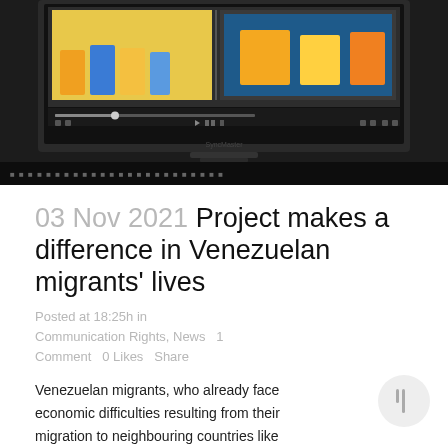[Figure (screenshot): Screenshot of a computer monitor displaying a video player with colorful images of people, shown on a dark desk surface]
03 Nov 2021 Project makes a difference in Venezuelan migrants' lives
Posted at 18:25h in Communication Rights, News  1 Comment  0 Likes  Share
Venezuelan migrants, who already face economic difficulties resulting from their migration to neighbouring countries like